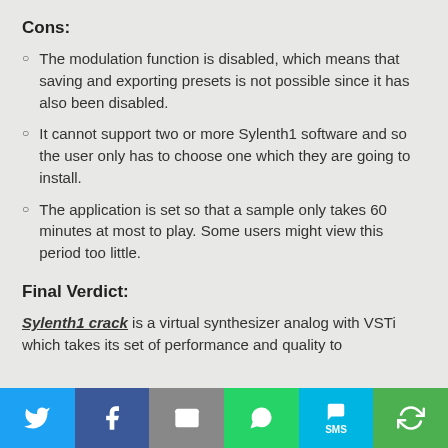Cons:
The modulation function is disabled, which means that saving and exporting presets is not possible since it has also been disabled.
It cannot support two or more Sylenth1 software and so the user only has to choose one which they are going to install.
The application is set so that a sample only takes 60 minutes at most to play. Some users might view this period too little.
Final Verdict:
Sylenth1 crack is a virtual synthesizer analog with VSTi which takes its set of performance and quality to